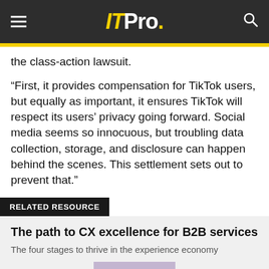ITPro.
the class-action lawsuit.
“First, it provides compensation for TikTok users, but equally as important, it ensures TikTok will respect its users’ privacy going forward. Social media seems so innocuous, but troubling data collection, storage, and disclosure can happen behind the scenes. This settlement sets out to prevent that.”
RELATED RESOURCE
The path to CX excellence for B2B services
The four stages to thrive in the experience economy